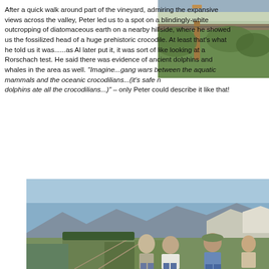After a quick walk around part of the vineyard, admiring the expansive views across the valley, Peter led us to a spot on a blindingly-white outcropping of diatomaceous earth on a nearby hillside, where he showed us the fossilized head of a huge prehistoric crocodile. At least that's what he told us it was......as Al later put it, it was sort of like looking at a Rorschach test. He said there was evidence of ancient dolphins and whales in the area as well. "Imagine...gang wars between the aquatic mammals and the oceanic crocodilians...(it's safe now...the dolphins ate all the crocodilians...)" – only Peter could describe it like that!
[Figure (photo): Photo of vineyard with wooden post and green vines, white diatomaceous earth visible on hillside in background]
[Figure (photo): Photo of four people standing on a hilltop overlooking a wide valley with green agricultural fields and mountains in the background under a clear blue sky]